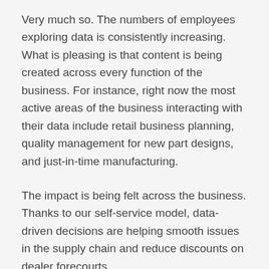Very much so. The numbers of employees exploring data is consistently increasing. What is pleasing is that content is being created across every function of the business. For instance, right now the most active areas of the business interacting with their data include retail business planning, quality management for new part designs, and just-in-time manufacturing.
The impact is being felt across the business. Thanks to our self-service model, data-driven decisions are helping smooth issues in the supply chain and reduce discounts on dealer forecourts.
The beauty of Tableau is its ease of use. The more people we can get using data in their work the better, but